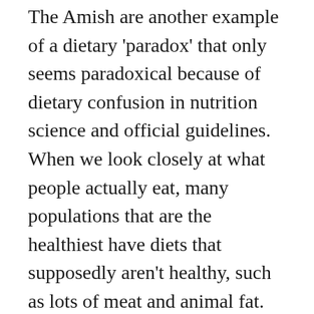The Amish are another example of a dietary 'paradox' that only seems paradoxical because of dietary confusion in nutrition science and official guidelines. When we look closely at what people actually eat, many populations that are the healthiest have diets that supposedly aren't healthy, such as lots of meat and animal fat. There are so many exceptions that they look more like the rule (Blue Zones Dietary Myth).
Besides a few genetic disorders, the Amish are a healthy population (Wikipedia, Health among the Amish).